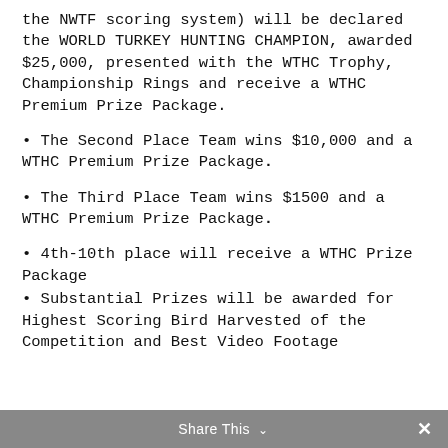the NWTF scoring system) will be declared the WORLD TURKEY HUNTING CHAMPION, awarded $25,000, presented with the WTHC Trophy, Championship Rings and receive a WTHC Premium Prize Package.
• The Second Place Team wins $10,000 and a WTHC Premium Prize Package.
• The Third Place Team wins $1500 and a WTHC Premium Prize Package.
• 4th-10th place will receive a WTHC Prize Package
• Substantial Prizes will be awarded for Highest Scoring Bird Harvested of the Competition and Best Video Footage
Share This ∨  ×